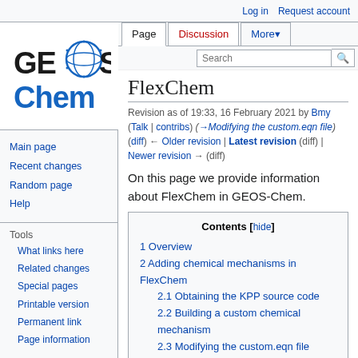Log in | Request account
[Figure (logo): GEOS-Chem logo with globe graphic and text 'GEO S Chem' in black and blue]
Main page
Recent changes
Random page
Help
Tools
What links here
Related changes
Special pages
Printable version
Permanent link
Page information
FlexChem
Revision as of 19:33, 16 February 2021 by Bmy (Talk | contribs) (→Modifying the custom.eqn file) (diff) ← Older revision | Latest revision (diff) | Newer revision → (diff)
On this page we provide information about FlexChem in GEOS-Chem.
Contents [hide]
1 Overview
2 Adding chemical mechanisms in FlexChem
  2.1 Obtaining the KPP source code
  2.2 Building a custom chemical mechanism
  2.3 Modifying the custom.eqn file